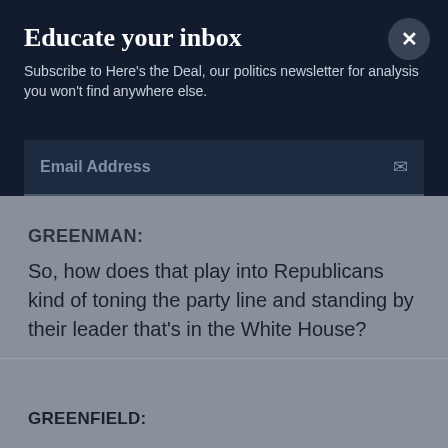Educate your inbox
Subscribe to Here's the Deal, our politics newsletter for analysis you won't find anywhere else.
Email Address
GREENMAN:
So, how does that play into Republicans kind of toning the party line and standing by their leader that's in the White House?
GREENFIELD:
I think when we move to policy, you can see where the whole notion of the potential